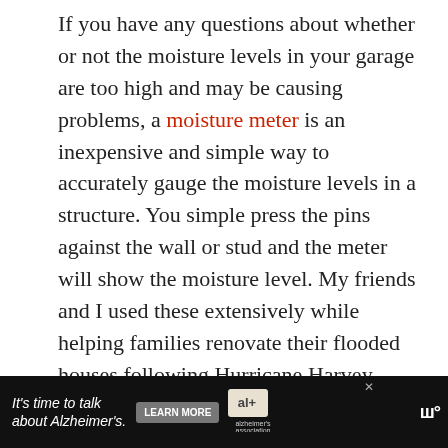If you have any questions about whether or not the moisture levels in your garage are too high and may be causing problems, a moisture meter is an inexpensive and simple way to accurately gauge the moisture levels in a structure. You simple press the pins against the wall or stud and the meter will show the moisture level. My friends and I used these extensively while helping families renovate their flooded houses following Hurricane Harvey.
Why A Garage Needs A Dehumidifier
[Figure (other): Red circular heart/like button and a white circular share button with social share icon]
[Figure (other): Advertisement bar at the bottom: 'It's time to talk about Alzheimer's.' with a LEARN MORE button and Alzheimer's Association logo]